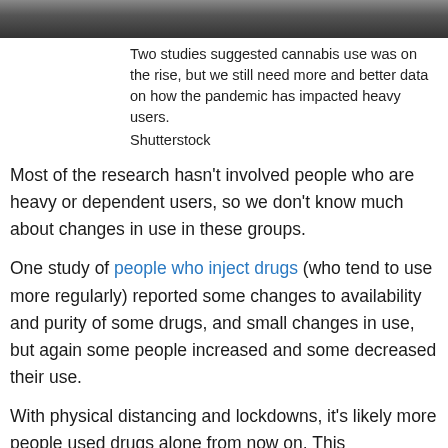[Figure (photo): Partial image of a person, dark background, cropped at top of page]
Two studies suggested cannabis use was on the rise, but we still need more and better data on how the pandemic has impacted heavy users.
Shutterstock
Most of the research hasn’t involved people who are heavy or dependent users, so we don’t know much about changes in use in these groups.
One study of people who inject drugs (who tend to use more regularly) reported some changes to availability and purity of some drugs, and small changes in use, but again some people increased and some decreased their use.
With physical distancing and lockdowns, it’s likely more people used drugs alone from now on. This